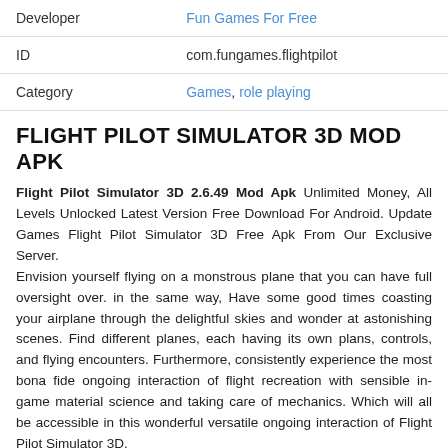| Developer | Fun Games For Free |
| ID | com.fungames.flightpilot |
| Category | Games, role playing |
FLIGHT PILOT SIMULATOR 3D MOD APK
Flight Pilot Simulator 3D 2.6.49 Mod Apk Unlimited Money, All Levels Unlocked Latest Version Free Download For Android. Update Games Flight Pilot Simulator 3D Free Apk From Our Exclusive Server.
Envision yourself flying on a monstrous plane that you can have full oversight over. in the same way, Have some good times coasting your airplane through the delightful skies and wonder at astonishing scenes. Find different planes, each having its own plans, controls, and flying encounters. Furthermore, consistently experience the most bona fide ongoing interaction of flight recreation with sensible in-game material science and taking care of mechanics. Which will all be accessible in this wonderful versatile ongoing interaction of Flight Pilot Simulator 3D.